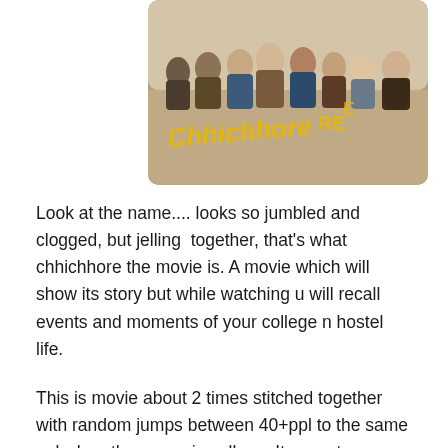[Figure (photo): Movie poster/banner for 'Chhichhore' showing a group of people sitting together, with the movie title written in stylized yellow letters]
Look at the name.... looks so jumbled and clogged, but jelling together, that's what chhichhore the movie is. A movie which will show its story but while watching u will recall events and moments of your college n hostel life.
This is movie about 2 times stitched together with random jumps between 40+ppl to the same ppl when they were in college. Its spontaneous but abrupt too which feels so emotional but complex. I too may be confusing u with